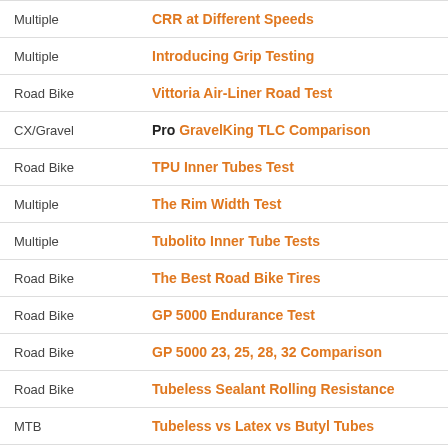| Category | Title |
| --- | --- |
| Multiple | CRR at Different Speeds |
| Multiple | Introducing Grip Testing |
| Road Bike | Vittoria Air-Liner Road Test |
| CX/Gravel | Pro GravelKing TLC Comparison |
| Road Bike | TPU Inner Tubes Test |
| Multiple | The Rim Width Test |
| Multiple | Tubolito Inner Tube Tests |
| Road Bike | The Best Road Bike Tires |
| Road Bike | GP 5000 Endurance Test |
| Road Bike | GP 5000 23, 25, 28, 32 Comparison |
| Road Bike | Tubeless Sealant Rolling Resistance |
| MTB | Tubeless vs Latex vs Butyl Tubes |